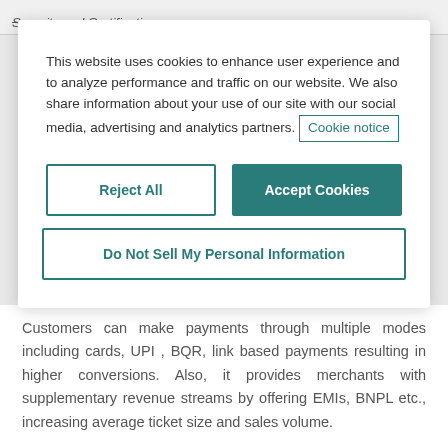Security and Certifications
This website uses cookies to enhance user experience and to analyze performance and traffic on our website. We also share information about your use of our site with our social media, advertising and analytics partners. Cookie notice
Reject All
Accept Cookies
Do Not Sell My Personal Information
Customers can make payments through multiple modes including cards, UPI , BQR, link based payments resulting in higher conversions. Also, it provides merchants with supplementary revenue streams by offering EMIs, BNPL etc., increasing average ticket size and sales volume.